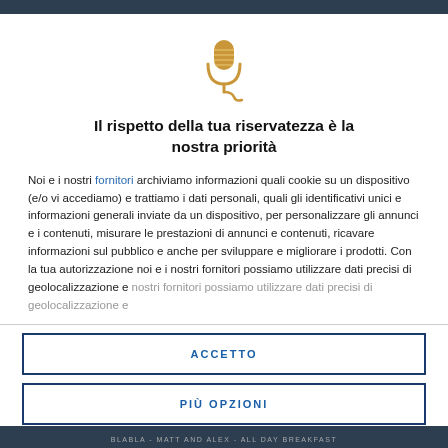[Figure (illustration): Golden microphone icon with a decorative swirl/cord at the bottom]
Il rispetto della tua riservatezza è la nostra priorità
Noi e i nostri fornitori archiviamo informazioni quali cookie su un dispositivo (e/o vi accediamo) e trattiamo i dati personali, quali gli identificativi unici e informazioni generali inviate da un dispositivo, per personalizzare gli annunci e i contenuti, misurare le prestazioni di annunci e contenuti, ricavare informazioni sul pubblico e anche per sviluppare e migliorare i prodotti. Con la tua autorizzazione noi e i nostri fornitori possiamo utilizzare dati precisi di geolocalizzazione e
ACCETTO
PIÙ OPZIONI
BLABLA - MATT AND ALEX - ALL DAY BREAKFAST